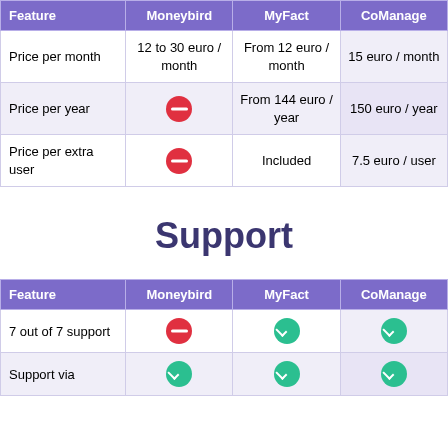| Feature | Moneybird | MyFact | CoManage |
| --- | --- | --- | --- |
| Price per month | 12 to 30 euro / month | From 12 euro / month | 15 euro / month |
| Price per year | — | From 144 euro / year | 150 euro / year |
| Price per extra user | — | Included | 7.5 euro / user |
Support
| Feature | Moneybird | MyFact | CoManage |
| --- | --- | --- | --- |
| 7 out of 7 support | — | ✓ | ✓ |
| Support via ... | ✓ | ✓ | ✓ |